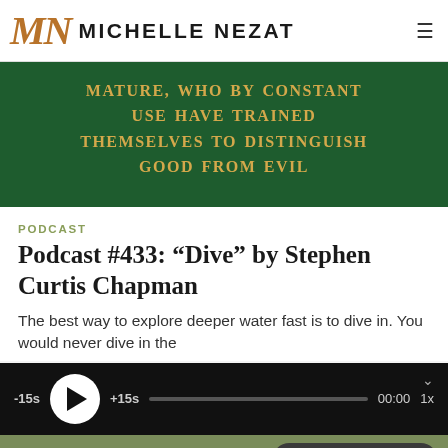MN MICHELLE NEZAT
[Figure (screenshot): Dark green banner with gold uppercase text: 'MATURE, WHO BY CONSTANT USE HAVE TRAINED THEMSELVES TO DISTINGUISH GOOD FROM EVIL']
PODCAST
Podcast #433: “Dive” by Stephen Curtis Chapman
The best way to explore deeper water fast is to dive in. You would never dive in the
[Figure (screenshot): Audio player bar with dark background showing: -15s, play button, +15s, progress bar, 00:00, 1x speed]
< > CHALLENGE  Send Voicemail